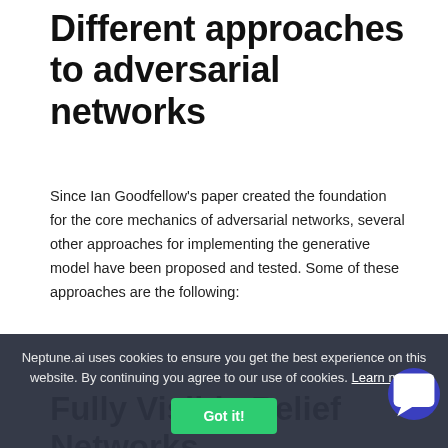Different approaches to adversarial networks
Since Ian Goodfellow's paper created the foundation for the core mechanics of adversarial networks, several other approaches for implementing the generative model have been proposed and tested. Some of these approaches are the following:
Fully Visible Belief Networks
These networks were mostly used to recogni... and generate images, video sequences, and motion-capture. They were introduced in